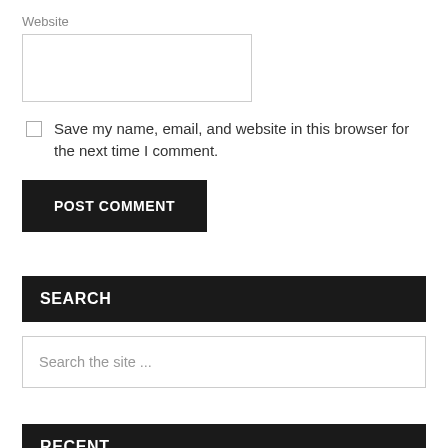Website
Save my name, email, and website in this browser for the next time I comment.
POST COMMENT
SEARCH
Search the site ...
RECENT